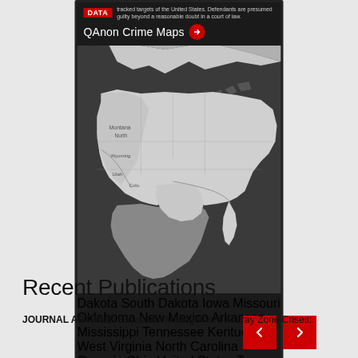[Figure (screenshot): Screenshot of a web page showing a QAnon Crime Maps interactive map. The map displays a dark-themed interface with a red DATA badge, small descriptive text, 'QAnon Crime Maps' heading with a red arrow, and a grayscale map of the United States and Mexico with black dot markers indicating crime locations.]
Recent Publications
JOURNAL ARTICLE: Escalation Management in Gray Zone Crises: